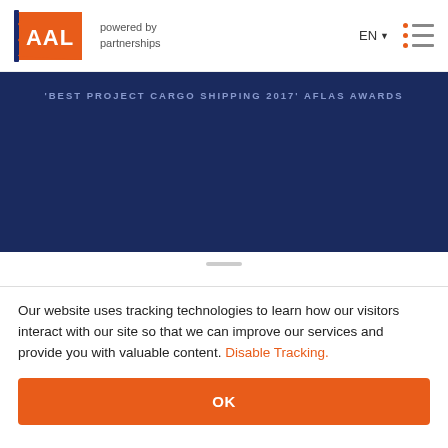[Figure (logo): AAL shipping company logo — orange flag with AAL text and 'powered by partnerships' tagline, with EN language selector and hamburger menu]
[Figure (screenshot): Dark navy blue banner with text 'BEST PROJECT CARGO SHIPPING 2017' AFLAS AWARDS in light blue uppercase letters]
Our website uses tracking technologies to learn how our visitors interact with our site so that we can improve our services and provide you with valuable content. Disable Tracking.
OK